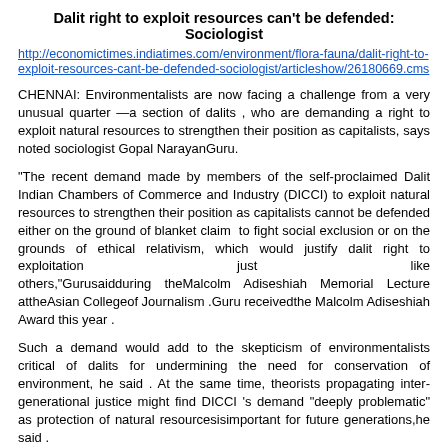Dalit right to exploit resources can't be defended: Sociologist
http://economictimes.indiatimes.com/environment/flora-fauna/dalit-right-to-exploit-resources-cant-be-defended-sociologist/articleshow/26180669.cms
CHENNAI: Environmentalists are now facing a challenge from a very unusual quarter —a section of dalits , who are demanding a right to exploit natural resources to strengthen their position as capitalists, says noted sociologist Gopal NarayanGuru.
"The recent demand made by members of the self-proclaimed Dalit Indian Chambers of Commerce and Industry (DICCI) to exploit natural resources to strengthen their position as capitalists cannot be defended either on the ground of blanket claim  to fight social exclusion or on the grounds of ethical relativism, which would justify dalit right to exploitation just like others,"Gurusaidduring  theMalcolm  Adiseshiah  Memorial  Lecture attheAsian Collegeof Journalism .Guru receivedthe Malcolm Adiseshiah Award this year .
Such a demand would add to the skepticism of environmentalists critical of dalits for undermining the need for conservation of environment, he said . At the same time, theorists propagating inter-generational justice might find DICCI 's demand "deeply problematic" as protection of natural resourcesisimportant for future generations,he said .